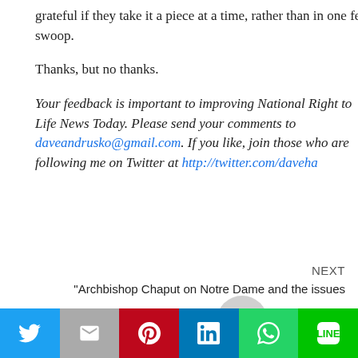grateful if they take it a piece at a time, rather than in one fell swoop.
Thanks, but no thanks.
Your feedback is important to improving National Right to Life News Today. Please send your comments to daveandrusko@gmail.com. If you like, join those who are following me on Twitter at http://twitter.com/daveha
NEXT
"Archbishop Chaput on Notre Dame and the issues that remain" »